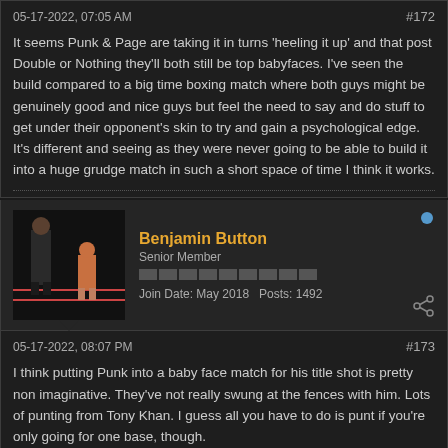05-17-2022, 07:05 AM
#172
It seems Punk & Page are taking it in turns 'heeling it up' and that post Double or Nothing they'll both still be top babyfaces. I've seen the build compared to a big time boxing match where both guys might be genuinely good and nice guys but feel the need to say and do stuff to get under their opponent's skin to try and gain a psychological edge. It's different and seeing as they were never going to be able to build it into a huge grudge match in such a short space of time I think it works.
Benjamin Button
Senior Member
Join Date: May 2018   Posts: 1492
05-17-2022, 08:07 PM
#173
I think putting Punk into a baby face match for his title shot is pretty non imaginative. They've not really swung at the fences with him. Lots of punting from Tony Khan. I guess all you have to do is punt if you're only going for one base, though.
Last edited by Benjamin Button; 05-17-2022, 08:09 PM.